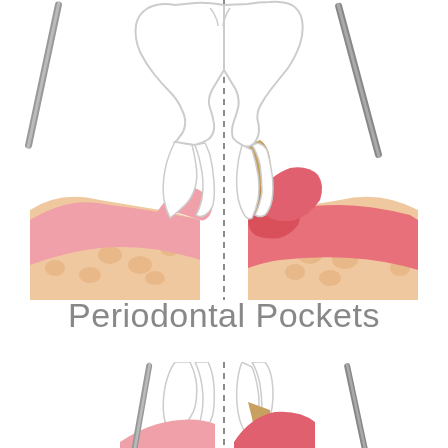[Figure (illustration): Medical diagram showing a cross-section comparison of healthy gum vs diseased gum around a tooth. Depicts periodontal probing on both sides. Left side shows healthy pink gum with normal bone. Right side shows diseased/inflamed red gum with tartar buildup and deeper pocket. Labels: Healthy Gum (blue), Diseased Gum (red).]
Periodontal Pockets
[Figure (illustration): Partial second diagram showing another cross-section of the same healthy vs diseased gum comparison, cut off at the bottom. Labels: Healthy Gum (blue), Diseased Gum (red).]